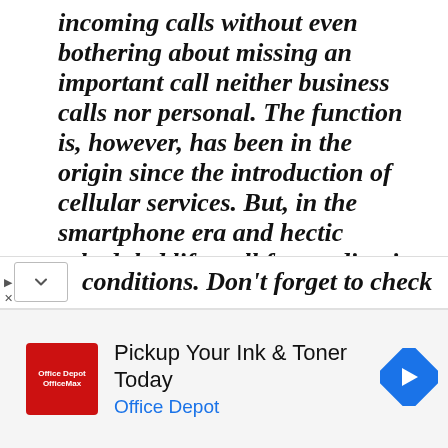incoming calls without even bothering about missing an important call neither business calls nor personal. The function is, however, has been in the origin since the introduction of cellular services. But, in the smartphone era and hectic scheduled life, call forwarding is a lifesaver. You can easily configure your Android to forward including calls to a specific number or voicemail. All you need is to set the permissions on select conditions. Don't forget to check
[Figure (screenshot): Advertisement banner for Office Depot with red logo, text 'Pickup Your Ink & Toner Today' and 'Office Depot', and a blue navigation arrow icon on the right. Skip/close controls at bottom left.]